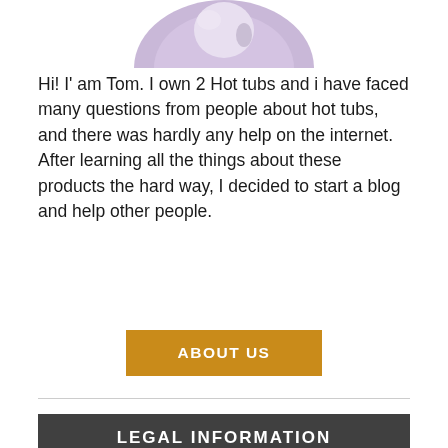[Figure (photo): Partial top of a circular photo showing a person, cropped at the top of the page, with purple/lavender tones]
Hi! I' am Tom. I own 2 Hot tubs and i have faced many questions from people about hot tubs, and there was hardly any help on the internet. After learning all the things about these products the hard way, I decided to start a blog and help other people.
ABOUT US
LEGAL INFORMATION
This site is a participant in the Amazon Services LLC Associates Program, an affiliate advertising program designed to provide a means for sites to earn advertising fees by advertising and linking to Amazon.com. We are compensated for referring